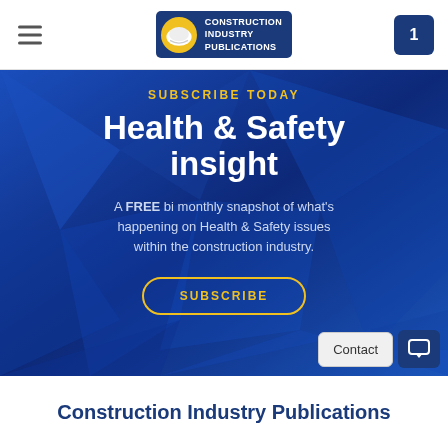Construction Industry Publications — menu, logo, cart (1)
[Figure (screenshot): Blue geometric polygon background banner with gold 'SUBSCRIBE TODAY' heading, white bold 'Health & Safety insight' title, light blue descriptor text, and yellow-outlined 'SUBSCRIBE' button]
SUBSCRIBE TODAY
Health & Safety insight
A FREE bi monthly snapshot of what's happening on Health & Safety issues within the construction industry.
SUBSCRIBE
Contact
Construction Industry Publications